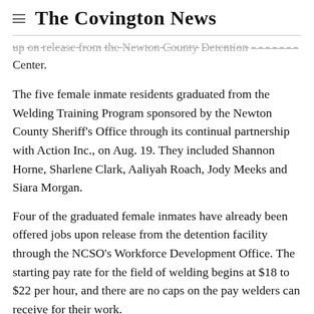The Covington News
up on release from the Newton County Detention Center.
The five female inmate residents graduated from the Welding Training Program sponsored by the Newton County Sheriff's Office through its continual partnership with Action Inc., on Aug. 19. They included Shannon Horne, Sharlene Clark, Aaliyah Roach, Jody Meeks and Siara Morgan.
Four of the graduated female inmates have already been offered jobs upon release from the detention facility through the NCSO's Workforce Development Office. The starting pay rate for the field of welding begins at $18 to $22 per hour, and there are no caps on the pay welders can receive for their work.